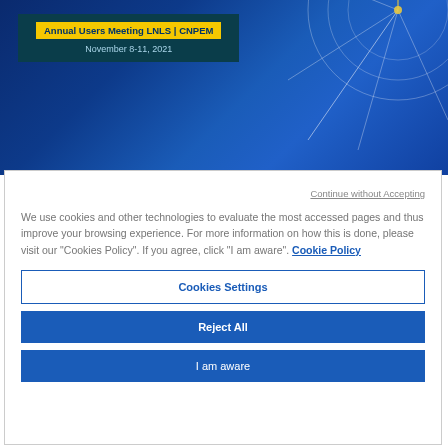[Figure (screenshot): Banner for Annual Users Meeting LNLS | CNPEM, November 8-11, 2021, with blue background and circular diagram graphic on the right]
Continue without Accepting
We use cookies and other technologies to evaluate the most accessed pages and thus improve your browsing experience. For more information on how this is done, please visit our "Cookies Policy". If you agree, click "I am aware". Cookie Policy
Cookies Settings
Reject All
I am aware